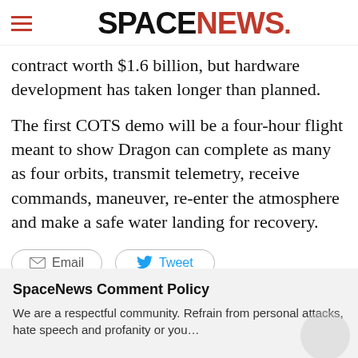SPACENEWS
contract worth $1.6 billion, but hardware development has taken longer than planned.
The first COTS demo will be a four-hour flight meant to show Dragon can complete as many as four orbits, transmit telemetry, receive commands, maneuver, re-enter the atmosphere and make a safe water landing for recovery.
Email  Tweet
LAUNCH  SPACEX
SpaceNews Comment Policy
We are a respectful community. Refrain from personal attacks, hate speech and profanity or you...